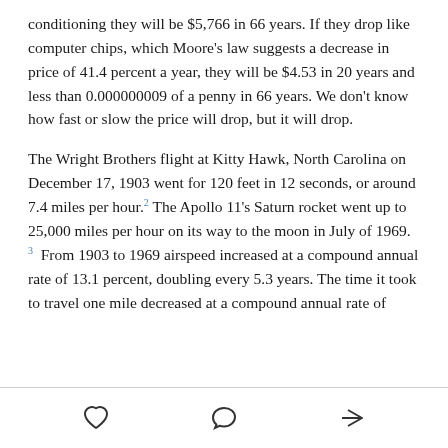conditioning they will be $5,766 in 66 years. If they drop like computer chips, which Moore's law suggests a decrease in price of 41.4 percent a year, they will be $4.53 in 20 years and less than 0.000000009 of a penny in 66 years. We don't know how fast or slow the price will drop, but it will drop.
The Wright Brothers flight at Kitty Hawk, North Carolina on December 17, 1903 went for 120 feet in 12 seconds, or around 7.4 miles per hour.2 The Apollo 11's Saturn rocket went up to 25,000 miles per hour on its way to the moon in July of 1969.3 From 1903 to 1969 airspeed increased at a compound annual rate of 13.1 percent, doubling every 5.3 years. The time it took to travel one mile decreased at a compound annual rate of
[heart icon] [comment icon] [share icon]